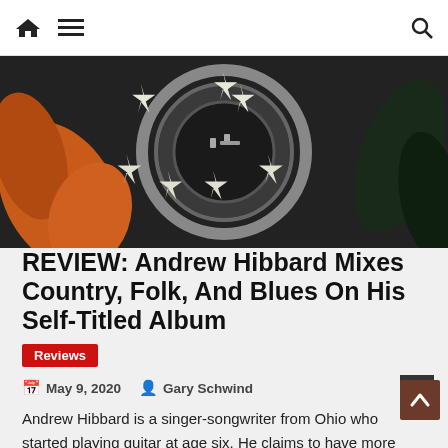Navigation header with home icon, menu icon, and search icon
[Figure (photo): Album cover or decorative image showing a circular emblem with white stars on a dark grey background, surrounded by orange/rust colored leaves and dark foliage]
REVIEW: Andrew Hibbard Mixes Country, Folk, And Blues On His Self-Titled Album
Reviews
May 9, 2020   Gary Schwind
Andrew Hibbard is a singer-songwriter from Ohio who started playing guitar at age six. He claims to have more than 300 songs, with most of those being lost or scrapped. Luckily not all of his songs have